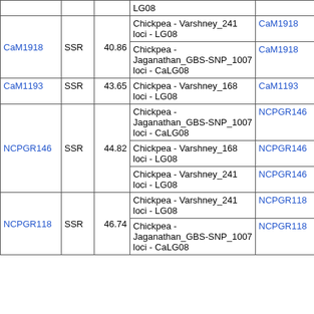| Marker | Type | Position | Map | Marker | Type |
| --- | --- | --- | --- | --- | --- |
|  |  |  | LG08 |  |  |
| CaM1918 | SSR | 40.86 | Chickpea - Varshney_241 loci - LG08 | CaM1918 | SSR |
| CaM1918 | SSR | 40.86 | Chickpea - Jaganathan_GBS-SNP_1007 loci - CaLG08 | CaM1918 | SSR |
| CaM1193 | SSR | 43.65 | Chickpea - Varshney_168 loci - LG08 | CaM1193 | SSR |
| NCPGR146 | SSR | 44.82 | Chickpea - Jaganathan_GBS-SNP_1007 loci - CaLG08 | NCPGR146 | SSR |
| NCPGR146 | SSR | 44.82 | Chickpea - Varshney_168 loci - LG08 | NCPGR146 | SSR |
| NCPGR146 | SSR | 44.82 | Chickpea - Varshney_241 loci - LG08 | NCPGR146 | SSR |
| NCPGR118 | SSR | 46.74 | Chickpea - Varshney_241 loci - LG08 | NCPGR118 | SSR |
| NCPGR118 | SSR | 46.74 | Chickpea - Jaganathan_GBS-SNP_1007 loci - CaLG08 | NCPGR118 | SSR |